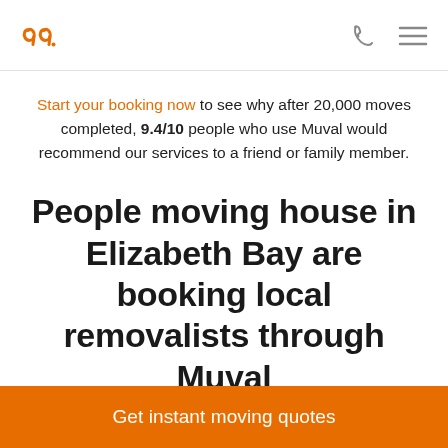Muval logo, phone icon, menu icon
Start your booking now to see why after 20,000 moves completed, 9.4/10 people who use Muval would recommend our services to a friend or family member.
People moving house in Elizabeth Bay are booking local removalists through Muval
Get instant moving quotes